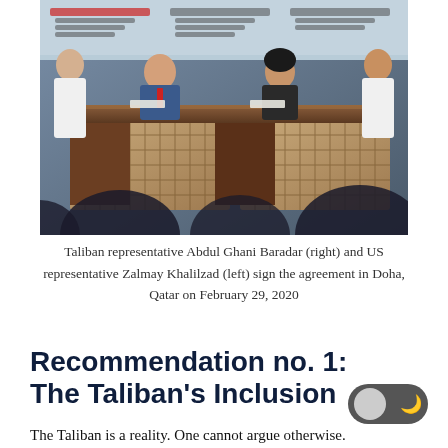[Figure (photo): Taliban representative Abdul Ghani Baradar and US representative Zalmay Khalilzad signing the agreement at a table in Doha, Qatar, with delegates in the foreground and a decorated backdrop behind them.]
Taliban representative Abdul Ghani Baradar (right) and US representative Zalmay Khalilzad (left) sign the agreement in Doha, Qatar on February 29, 2020
Recommendation no. 1: The Taliban's Inclusion
The Taliban is a reality. One cannot argue otherwise.